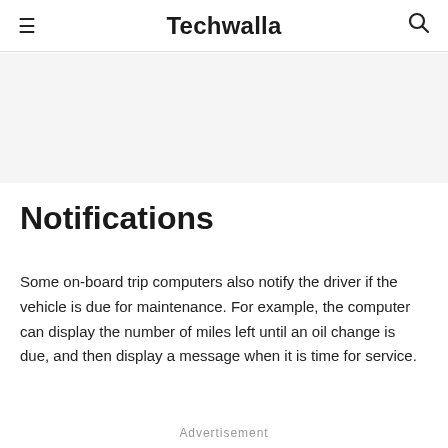≡  Techwalla  🔍
[Figure (other): Advertisement banner placeholder area with light gray background]
Notifications
Some on-board trip computers also notify the driver if the vehicle is due for maintenance. For example, the computer can display the number of miles left until an oil change is due, and then display a message when it is time for service.
Advertisement